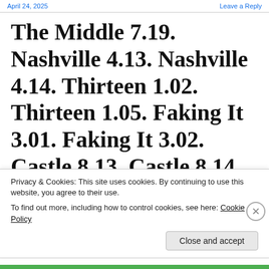April 24, 2025    Leave a Reply
The Middle 7.19. Nashville 4.13. Nashville 4.14. Thirteen 1.02. Thirteen 1.05. Faking It 3.01. Faking It 3.02. Castle 8.13. Castle 8.14. Castle 8.15. Castle 8.16. The Good Wife 7.17
Privacy & Cookies: This site uses cookies. By continuing to use this website, you agree to their use.
To find out more, including how to control cookies, see here: Cookie Policy
Close and accept